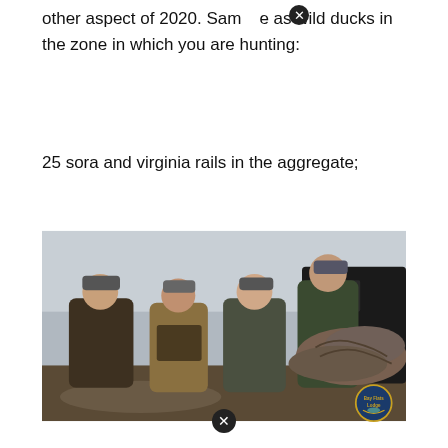other aspect of 2020. Same as wild ducks in the zone in which you are hunting:
25 sora and virginia rails in the aggregate;
[Figure (photo): Four hunters in camouflage gear posing outdoors next to a utility vehicle loaded with harvested waterfowl (ducks). They are standing in a wetland/field setting under an overcast sky. A Bay Flats Lodge logo is visible in the bottom right corner of the photo. There are close/dismiss button icons overlaid on the image.]